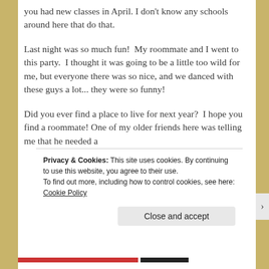you had new classes in April. I don't know any schools around here that do that.
Last night was so much fun!  My roommate and I went to this party.  I thought it was going to be a little too wild for me, but everyone there was so nice, and we danced with these guys a lot... they were so funny!
Did you ever find a place to live for next year?  I hope you find a roommate! One of my older friends here was telling me that he needed a
Privacy & Cookies: This site uses cookies. By continuing to use this website, you agree to their use.
To find out more, including how to control cookies, see here: Cookie Policy
Close and accept